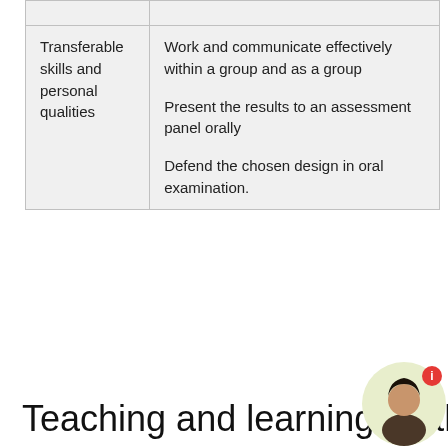|  |  |
| Transferable skills and personal qualities | Work and communicate effectively within a group and as a group

Present the results to an assessment panel orally

Defend the chosen design in oral examination. |
Teaching and learning metho...